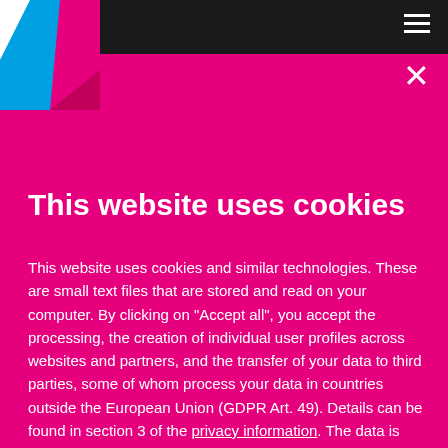[Figure (logo): Deutsche Telekom T logo — pink triangle shape with blue and white geometric segments]
This website uses cookies
This website uses cookies and similar technologies. These are small text files that are stored and read on your computer. By clicking on "Accept all", you accept the processing, the creation of individual user profiles across websites and partners, and the transfer of your data to third parties, some of whom process your data in countries outside the European Union (GDPR Art. 49). Details can be found in section 3 of the privacy information. The data is used for analysis, retargeting and for playing out personalized content and advertising on Telekom sites and third-party sites. Further information, including information